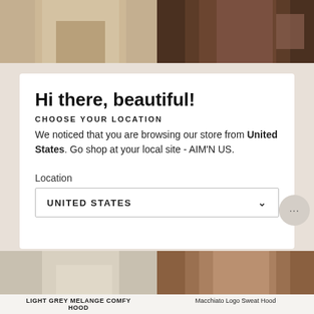[Figure (photo): Top product image left: khaki/beige pants closeup]
[Figure (photo): Top product image right: dark brown pants closeup]
Hi there, beautiful!
CHOOSE YOUR LOCATION
We noticed that you are browsing our store from United States. Go shop at your local site - AIM'N US.
Location
UNITED STATES
[Figure (photo): Bottom left product image: light grey comfy set]
[Figure (photo): Bottom right product image: macchiato sweat hood]
LIGHT GREY MELANGE COMFY HOOD
Macchiato Logo Sweat Hood